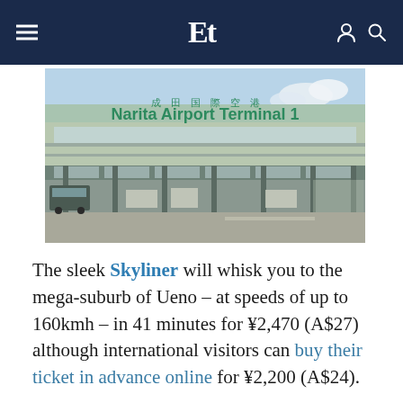≡  Et  🔍
[Figure (photo): Narita Airport Terminal 1 exterior, showing the terminal building with large green English and Japanese signage reading 'Narita Airport Terminal 1', with a covered drop-off area, luggage carts, and clear sky.]
The sleek Skyliner will whisk you to the mega-suburb of Ueno – at speeds of up to 160kmh – in 41 minutes for ¥2,470 (A$27) although international visitors can buy their ticket in advance online for ¥2,200 (A$24).